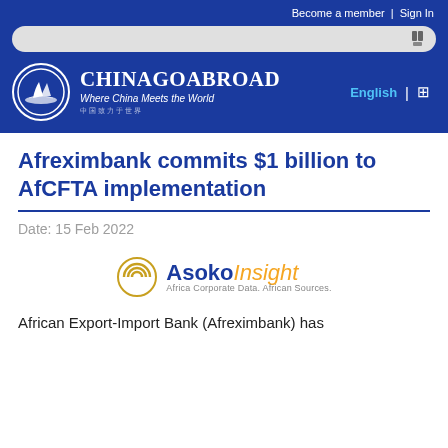Become a member | Sign In
[Figure (logo): ChinaGoAbroad website header with logo (sailboat in circle), site name 'ChinaGoAbroad Where China Meets the World', search bar, and language selector 'English']
Afreximbank commits $1 billion to AfCFTA implementation
Date: 15 Feb 2022
[Figure (logo): Asoko Insight logo — circular wave icon in gold/yellow, text 'AsokoInsight' in blue and gold, tagline 'Africa Corporate Data. African Sources.']
African Export-Import Bank (Afreximbank) has